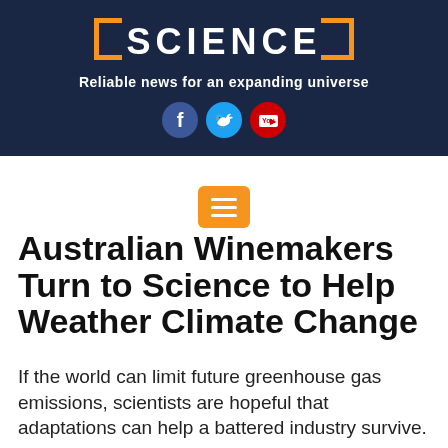SCIENCE — Reliable news for an expanding universe
[Figure (logo): Science news website logo with orange bracket design and social media icons (Facebook, Twitter, YouTube)]
[Figure (other): Orange hamburger menu button with three white horizontal lines]
Australian Winemakers Turn to Science to Help Weather Climate Change
If the world can limit future greenhouse gas emissions, scientists are hopeful that adaptations can help a battered industry survive.